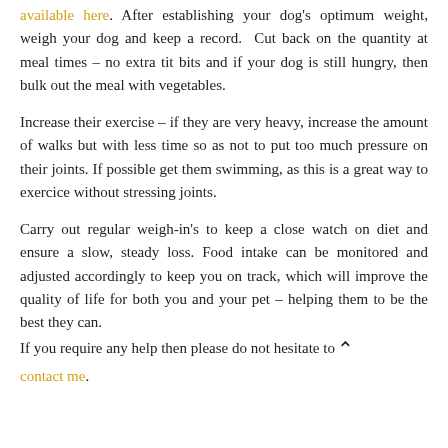available here. After establishing your dog's optimum weight, weigh your dog and keep a record. Cut back on the quantity at meal times – no extra tit bits and if your dog is still hungry, then bulk out the meal with vegetables.
Increase their exercise – if they are very heavy, increase the amount of walks but with less time so as not to put too much pressure on their joints. If possible get them swimming, as this is a great way to exercice without stressing joints.
Carry out regular weigh-in's to keep a close watch on diet and ensure a slow, steady loss. Food intake can be monitored and adjusted accordingly to keep you on track, which will improve the quality of life for both you and your pet – helping them to be the best they can. If you require any help then please do not hesitate to contact me.